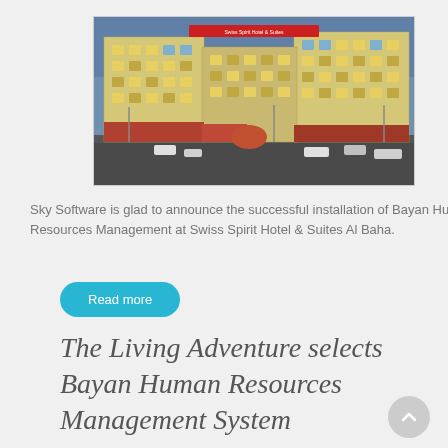[Figure (photo): Aerial/elevated view of Swiss Spirit Hotel & Suites Al Baha, a large multi-story hotel building illuminated at dusk with surrounding streets and cars]
Sky Software is glad to announce the successful installation of Bayan Human Resources Management at Swiss Spirit Hotel & Suites Al Baha.
Read more
The Living Adventure selects Bayan Human Resources Management System